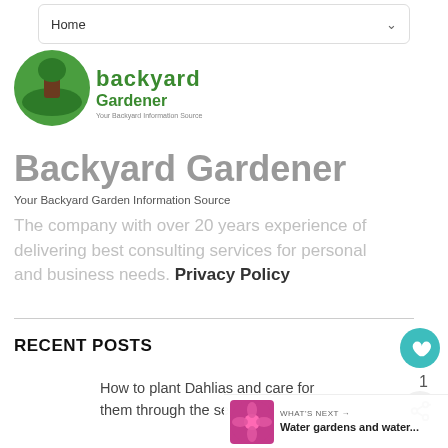Home
[Figure (logo): Backyard Gardener logo with green circular emblem and text 'Backyard Gardener – Your Backyard Information Source']
Backyard Gardener
Your Backyard Garden Information Source
The company with over 20 years experience of delivering best consulting services for personal and business needs. Privacy Policy
RECENT POSTS
How to plant Dahlias and care for them through the season
WHAT'S NEXT → Water gardens and water...